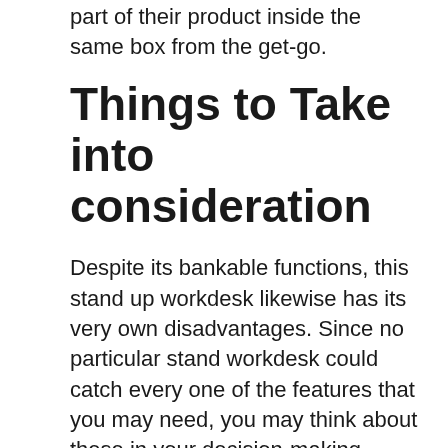part of their product inside the same box from the get-go.
Things to Take into consideration
Despite its bankable functions, this stand up workdesk likewise has its very own disadvantages. Since no particular stand workdesk could catch every one of the features that you may need, you may think about these in your decision-making.
Lack of a Bar as criterion
Not having a stabilizing crossbar is definitely